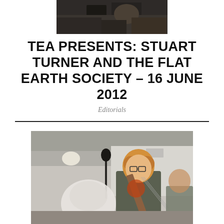[Figure (photo): Dark photo of a music performance, partially visible at top of page]
TEA PRESENTS: STUART TURNER AND THE FLAT EARTH SOCIETY – 16 JUNE 2012
Editorials
[Figure (photo): Photo of a red-haired young man playing an acoustic guitar on stage, with a microphone stand visible to his left, indoor venue with white walls]